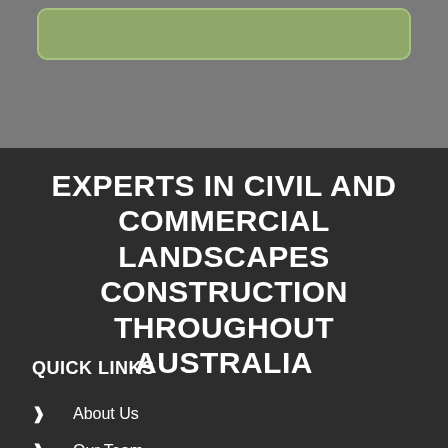[Figure (other): Gray background section with a green rounded rectangle button at the top]
EXPERTS IN CIVIL AND COMMERCIAL LANDSCAPES CONSTRUCTION THROUGHOUT AUSTRALIA
QUICK LINKS
About Us
Our Team
Our Projects
Consultation
News